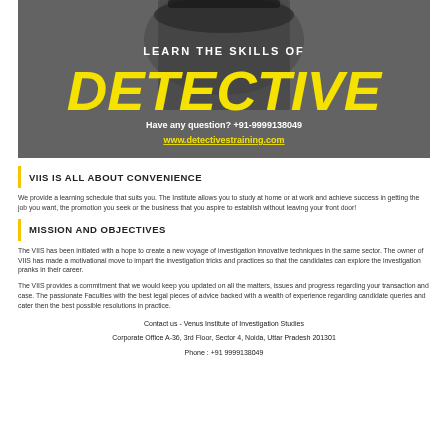[Figure (photo): Black and white photo of a person wearing a wide-brim hat, with overlaid text for detective training advertisement. Shows 'LEARN THE SKILLS OF', 'DETECTIVE' in large yellow italic text, 'Have any question? +91-9999138049', and 'www.detectivestraining.com']
VIIS IS ALL ABOUT CONVENIENCE
We provide a learning schedule that suits you. The Institute allows you to study at home or at work and achieve success in getting the job you want, the promotion you seek or the business that you aspire to establish without leaving your front door!
MISSION AND OBJECTIVES
The VIIS has been initiated with a hope to create a new voyage of investigation innovative techniques in the same sector. The owner of VIIS has made a motivational move to impart the investigation tricks and practices so that the candidates can explore the investigation pranks in their career.
The VIIS provides a commitment that we would keep you updated on all the matters, issues and progress regarding your transaction and case. The passionate Faculties with the best legal pieces of advice backed with a wealth of experience regarding candidate queries and cater then the best possible resolutions in practice.
Contact us - Venus Institute of Investigation Studies
Corporate Office A-36, 3rd Floor, Sector 4, Noida, Uttar Pradesh 201301
Phone : +91 9999138049